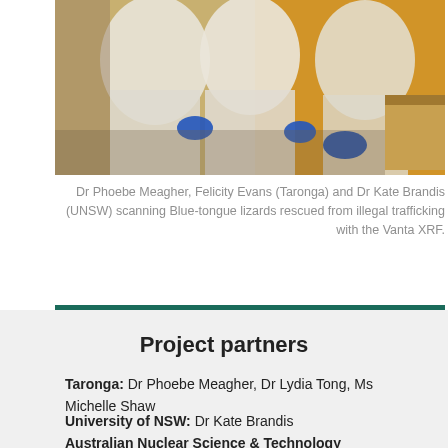[Figure (photo): Researchers in white protective suits and blue gloves scanning Blue-tongue lizards in a lab setting]
Dr Phoebe Meagher, Felicity Evans (Taronga) and Dr Kate Brandis (UNSW) scanning Blue-tongue lizards rescued from illegal trafficking with the Vanta XRF.
Project partners
Taronga: Dr Phoebe Meagher, Dr Lydia Tong, Ms Michelle Shaw
University of NSW: Dr Kate Brandis
Australian Nuclear Science & Technology Organisation: